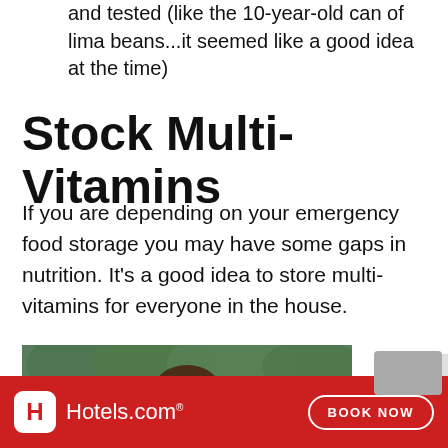and tested (like the 10-year-old can of lima beans...it seemed like a good idea at the time)
Stock Multi-Vitamins
If you are depending on your emergency food storage you may have some gaps in nutrition. It's a good idea to store multi-vitamins for everyone in the house.
[Figure (photo): A woman with long brown hair looking down, outdoors with green trees in the background, wearing a blue top.]
[Figure (other): Hotels.com advertisement banner with red background, Hotels.com logo on left and BOOK NOW button on right.]